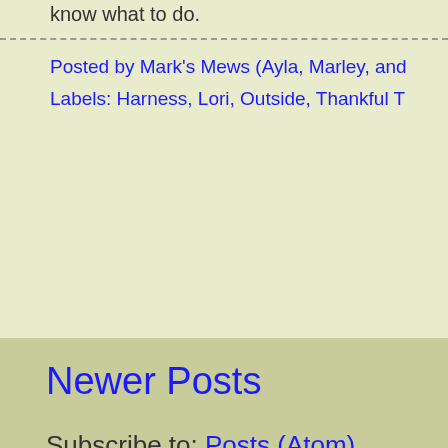know what to do.
Posted by Mark's Mews (Ayla, Marley, and
Labels: Harness, Lori, Outside, Thankful T
Newer Posts
Subscribe to: Posts (Atom)